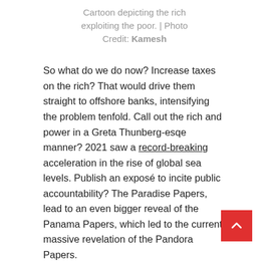Cartoon depicting the rich exploiting the poor. | Photo Credit: Kamesh
So what do we do now? Increase taxes on the rich? That would drive them straight to offshore banks, intensifying the problem tenfold. Call out the rich and power in a Greta Thunberg-esqe manner? 2021 saw a record-breaking acceleration in the rise of global sea levels. Publish an exposé to incite public accountability? The Paradise Papers, lead to an even bigger reveal of the Panama Papers, which led to the current massive revelation of the Pandora Papers.
So, is there really no hope at all?
Well, an International Monetary Fund Working Paper titled "Changing Economies Around the World: What Did